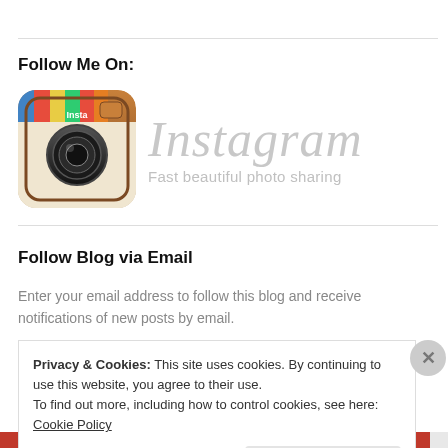Follow Me On:
[Figure (logo): Instagram logo: camera icon with colorful stripe at top and Instagram wordmark with tagline 'Fast beautiful photo sharing']
Follow Blog via Email
Enter your email address to follow this blog and receive notifications of new posts by email.
Privacy & Cookies: This site uses cookies. By continuing to use this website, you agree to their use.
To find out more, including how to control cookies, see here: Cookie Policy
Close and accept